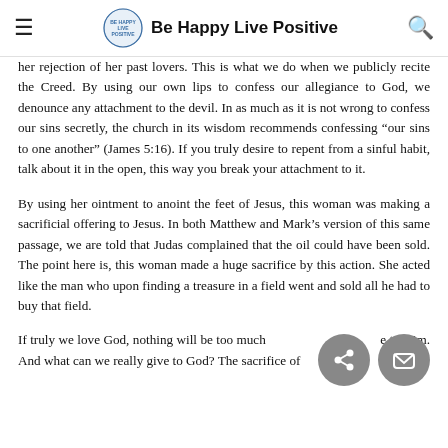Be Happy Live Positive
her rejection of her past lovers. This is what we do when we publicly recite the Creed. By using our own lips to confess our allegiance to God, we denounce any attachment to the devil. In as much as it is not wrong to confess our sins secretly, the church in its wisdom recommends confessing “our sins to one another” (James 5:16). If you truly desire to repent from a sinful habit, talk about it in the open, this way you break your attachment to it.
By using her ointment to anoint the feet of Jesus, this woman was making a sacrificial offering to Jesus. In both Matthew and Mark’s version of this same passage, we are told that Judas complained that the oil could have been sold. The point here is, this woman made a huge sacrifice by this action. She acted like the man who upon finding a treasure in a field went and sold all he had to buy that field.
If truly we love God, nothing will be too much to give to Him. And what can we really give to God? The sacrifice of